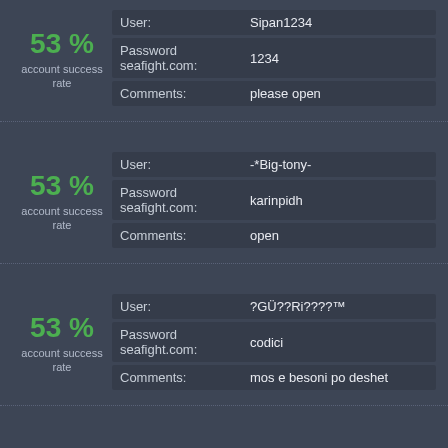53 % account success rate | User: Sipan1234 | Password seafight.com: 1234 | Comments: please open
53 % account success rate | User: -*Big-tony- | Password seafight.com: karinpidh | Comments: open
53 % account success rate | User: ?GÜ??Ri????™ | Password seafight.com: codici | Comments: mos e besoni po deshet
53 % account success rate | User: hahahahahah | Password seafight.com: ...